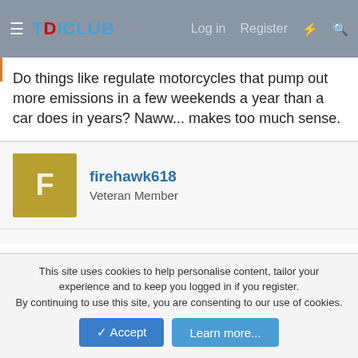TDICLUB | Log in | Register
Do things like regulate motorcycles that pump out more emissions in a few weekends a year than a car does in years? Naww... makes too much sense.
firehawk618
Veteran Member
Jun 25, 2017  #8
What about killing a diesels economy for the sake of reduced tail pipe emissions?
At what point does the higher consumption of fuel cancel out
This site uses cookies to help personalise content, tailor your experience and to keep you logged in if you register.
By continuing to use this site, you are consenting to our use of cookies.
Accept  Learn more...